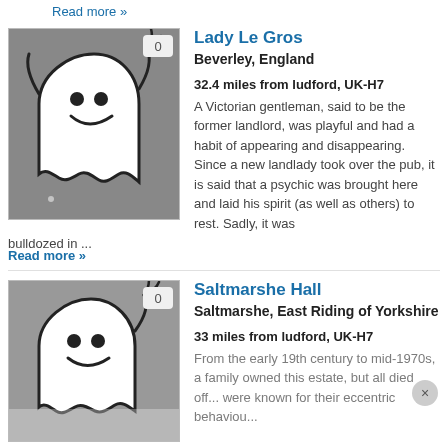Read more »
Lady Le Gros
Beverley, England
32.4 miles from ludford, UK-H7
A Victorian gentleman, said to be the former landlord, was playful and had a habit of appearing and disappearing. Since a new landlady took over the pub, it is said that a psychic was brought here and laid his spirit (as well as others) to rest. Sadly, it was bulldozed in ...
Read more »
[Figure (illustration): Ghost illustration - white cartoon ghost on grey background with badge showing 0]
Saltmarshe Hall
Saltmarshe, East Riding of Yorkshire
33 miles from ludford, UK-H7
From the early 19th century to mid-1970s, a family owned this estate, but all died off... were known for their eccentric behaviou...
[Figure (illustration): Ghost illustration - white cartoon ghost on grey background with badge showing 0]